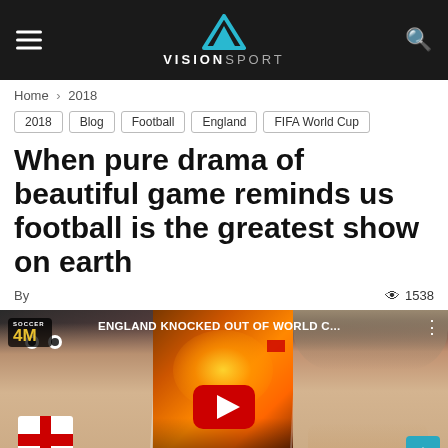VISIONSPORT
Home › 2018
2018  Blog  Football  England  FIFA World Cup
When pure drama of beautiful game reminds us football is the greatest show on earth
By   👁 1538
[Figure (screenshot): YouTube video thumbnail showing: Soccer AM logo, title 'ENGLAND KNOCKED OUT OF WORLD C...', three panels showing England fans with face paint (left), crowd with flares (center), crying woman fan (right), with YouTube play button in center.]